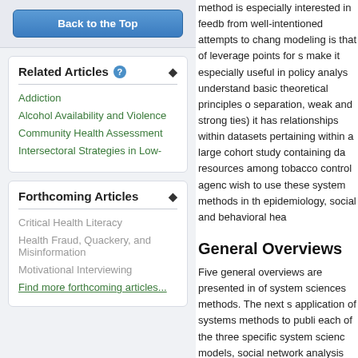Back to the Top
Related Articles
Addiction
Alcohol Availability and Violence
Community Health Assessment
Intersectoral Strategies in Low-
Forthcoming Articles
Critical Health Literacy
Health Fraud, Quackery, and Misinformation
Motivational Interviewing
Find more forthcoming articles...
method is especially interested in feedb from well-intentioned attempts to chang modeling is that of leverage points for s make it especially useful in policy analys understand basic theoretical principles o separation, weak and strong ties) it has relationships within datasets pertaining within a large cohort study containing da resources among tobacco control agenc wish to use these system methods in th epidemiology, social and behavioral hea
General Overviews
Five general overviews are presented in of system sciences methods. The next s application of systems methods to publi each of the three specific system scienc models, social network analysis and sys pertaining to the method are reviewed a either to public health research in gener social epidemiology, health promotion, c
back to top